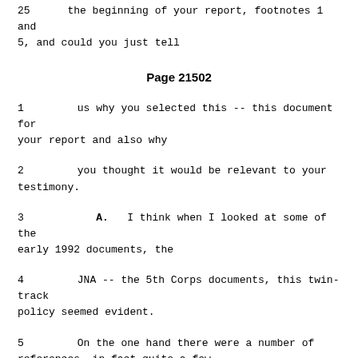25      the beginning of your report, footnotes 1 and 5, and could you just tell
Page 21502
1      us why you selected this -- this document for your report and also why
2      you thought it would be relevant to your testimony.
3         A.   I think when I looked at some of the early 1992 documents, the
4      JNA -- the 5th Corps documents, this twin-track policy seemed evident.
5      On the one hand there were a number of references, in fact quite a few,